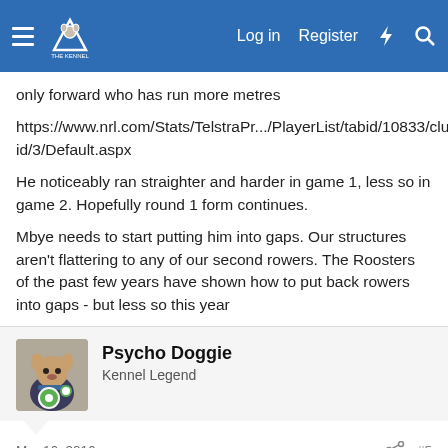The Kennel — Log in | Register
only forward who has run more metres
https://www.nrl.com/Stats/TelstraPr.../PlayerList/tabid/10833/clubid/3/Default.aspx
He noticeably ran straighter and harder in game 1, less so in game 2. Hopefully round 1 form continues.
Mbye needs to start putting him into gaps. Our structures aren't flattering to any of our second rowers. The Roosters of the past few years have shown how to put back rowers into gaps - but less so this year
Psycho Doggie — Kennel Legend
Mar 16, 2016  #5
He is doing fine right now, add to that he plays the 80 minutes